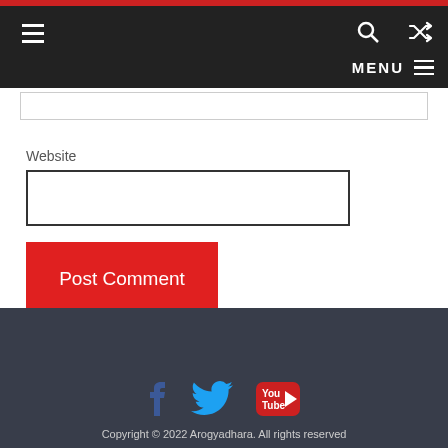Navigation bar with hamburger menu, search and shuffle icons, and MENU label
Website
Post Comment
Copyright © 2022 Arogyadhara. All rights reserved